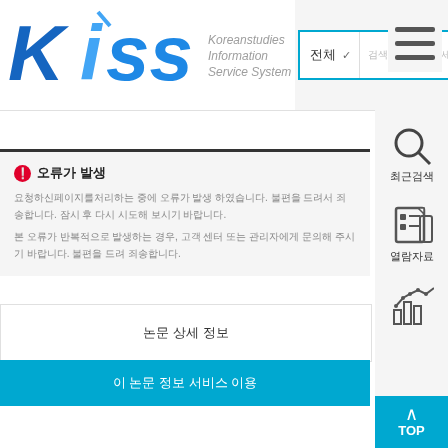[Figure (logo): KISS - Koreanstudies Information Service System logo with blue stylized letters]
전체 ∨ [검색어를 입력하세요.]
[Figure (illustration): Hamburger menu icon (three horizontal lines)]
[Figure (illustration): Search/magnifying glass icon with label 최근검색]
최근검색
[Figure (illustration): Newspaper/document icon with label 열람자료]
열람자료
[Figure (illustration): Bar chart with line graph icon]
❶ 오류가 발생
요청하신페이지를처리하는 중에 오류가 발생 하였습니다. 불편을 드려서 죄송합니다. 잠시 후 다시 시도해 보시기 바랍니다.
본 오류가 반복적으로 발생하는 경우, 고객 센터 또는 관리자에게 문의해 주시기 바랍니다. 불편을 드려 죄송합니다.
논문 상세 정보
이 논문 정보 서비스 이용
TOP